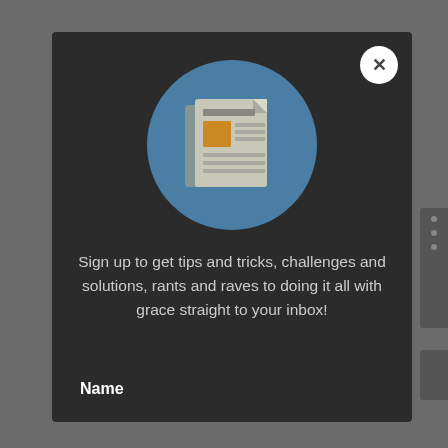[Figure (screenshot): A modal popup dialog with a dark background (#2b2b2b), a close button (X) in the top-right corner (white circle), a blue circular icon featuring a newspaper/document graphic in the center, descriptive text below the icon, and a 'Name' label at the bottom left.]
Sign up to get tips and tricks, challenges and solutions, rants and raves to doing it all with grace straight to your inbox!
Name